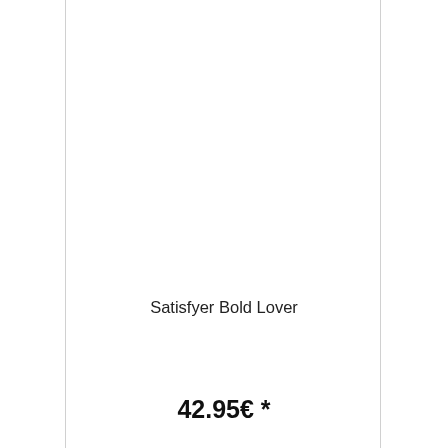Satisfyer Bold Lover
42.95€ *
Details →
This website uses cookies, which are necessary for the technical operation of the website and are always set. Other cookies, which increase the usability of this website, serve for direct advertising or simplify interaction with other websites and social networks, will only be used with your consent.
Decline
Configuration
Accept all